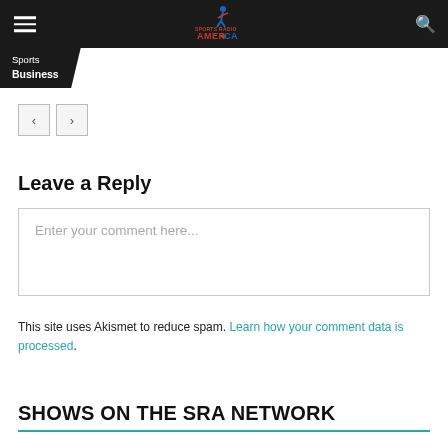Sports Business America
Sports
Business
< >
Leave a Reply
Enter your comment here...
This site uses Akismet to reduce spam. Learn how your comment data is processed.
SHOWS ON THE SRA NETWORK